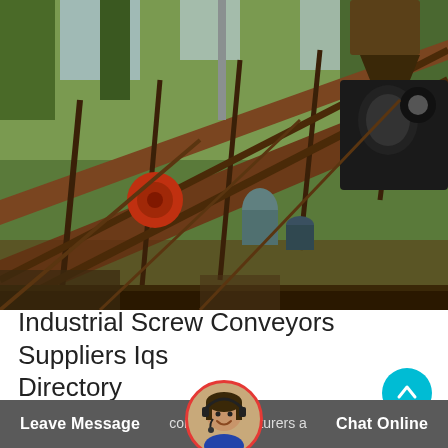[Figure (photo): Outdoor industrial equipment: heavy rusty metal screw conveyor / screening machinery at a mining or construction site, with trees visible in the background.]
Industrial Screw Conveyors Suppliers Iqs Directory
Leave Message ... conveyors ... cturers a ... Chat Online IQS Directory implements a thorough list of industrial scre...